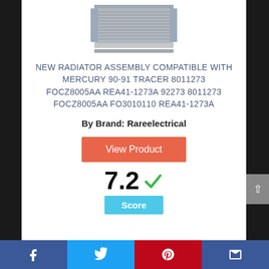[Figure (photo): Photo of a car radiator assembly, silver/aluminum colored, rectangular with fins visible.]
NEW RADIATOR ASSEMBLY COMPATIBLE WITH MERCURY 90-91 TRACER 8011273 FOCZ8005AA REA41-1273A 92273 8011273 FOCZ8005AA FO3010110 REA41-1273A
By Brand: Rareelectrical
View Product
7.2 Score